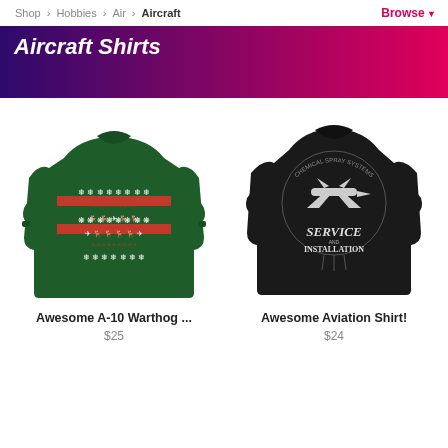Shop > Hobbies > Air > Aircraft   Browse
Aircraft Shirts
[Figure (photo): Green Christmas-style long-sleeve sweatshirt with A-10 Warthog aircraft pattern, snowflakes, and reindeer on red and white stripes]
Awesome A-10 Warthog ...
$25
[Figure (photo): Black short-sleeve t-shirt showing back design with airplane silhouette, Chemical Spray Systems text, Service and Installation]
Awesome Aviation Shirt!
$24